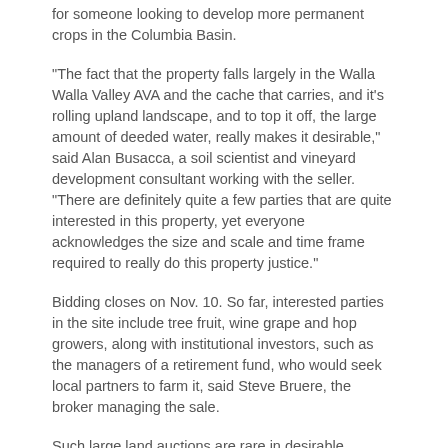for someone looking to develop more permanent crops in the Columbia Basin.
“The fact that the property falls largely in the Walla Walla Valley AVA and the cache that carries, and it’s rolling upland landscape, and to top it off, the large amount of deeded water, really makes it desirable,” said Alan Busacca, a soil scientist and vineyard development consultant working with the seller. “There are definitely quite a few parties that are quite interested in this property, yet everyone acknowledges the size and scale and time frame required to really do this property justice.”
Bidding closes on Nov. 10. So far, interested parties in the site include tree fruit, wine grape and hop growers, along with institutional investors, such as the managers of a retirement fund, who would seek local partners to farm it, said Steve Bruere, the broker managing the sale.
Such large land auctions are rare in desirable growing regions in the Pacific Northwest, but not unprecedented. In 2012, a partnership associated with Gebbers Farms of Brewster, Washington, bought a 16,000-acre ranch on south-central Washington’s Rattlesnake Mountain for $7.6 million. Plans for